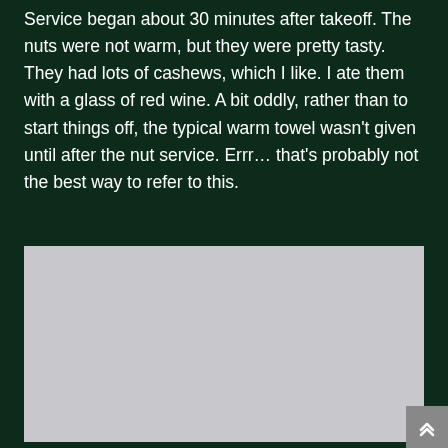Service began about 30 minutes after takeoff. The nuts were not warm, but they were pretty tasty. They had lots of cashews, which I like. I ate them with a glass of red wine. A bit oddly, rather than to start things off, the typical warm towel wasn't given until after the nut service. Errr… that's probably not the best way to refer to this.
[Figure (photo): A large light gray rectangular placeholder image block]